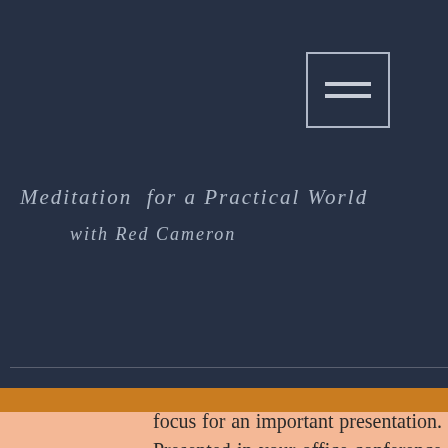Meditation for a Practical World with Red Cameron
aining Reset nxiety times e the o you focus for an important presentation. Presented in your office conference room, they are designed to maximize time away from the desk.
Corporate Training weekends teach the basic practice and are held at local retreat centers or at a hotel of your choosing where participants can immerse in the experience of the full practice. When requested, we can integrate yoga, Thai Chi, massage, chiropractic, acupuncture, and spa